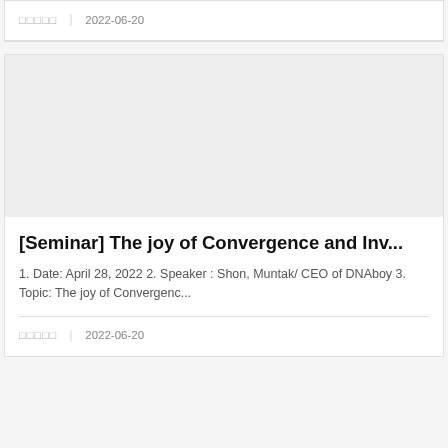□□□□□  |  2022-06-20
[Figure (photo): Gray placeholder image for seminar card]
[Seminar] The joy of Convergence and Inv...
1. Date: April 28, 2022 2. Speaker : Shon, Muntak/ CEO of DNAboy 3. Topic: The joy of Convergenc...
□□□□□  |  2022-06-20